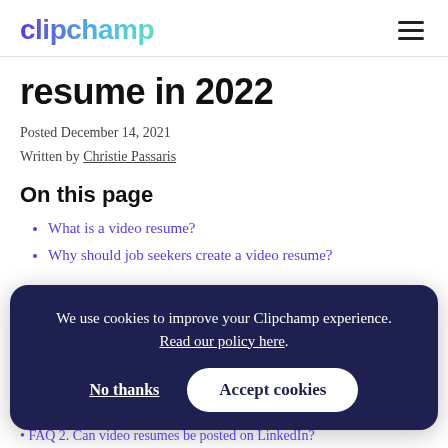clipchamp
resume in 2022
Posted December 14, 2021
Written by Christie Passaris
On this page
What is a video resume?
Why should job seekers create a video resume?
We use cookies to improve your Clipchamp experience. Read our policy here.
No thanks    Accept cookies
FAQ 2. Can video resumes be posted on LinkedIn?